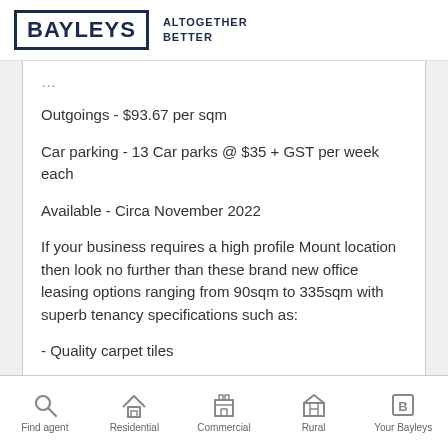BAYLEYS ALTOGETHER BETTER
Outgoings - $93.67 per sqm
Car parking - 13 Car parks @ $35 + GST per week each
Available - Circa November 2022
If your business requires a high profile Mount location then look no further than these brand new office leasing options ranging from 90sqm to 335sqm with superb tenancy specifications such as:
- Quality carpet tiles
Find agent | Residential | Commercial | Rural | Your Bayleys